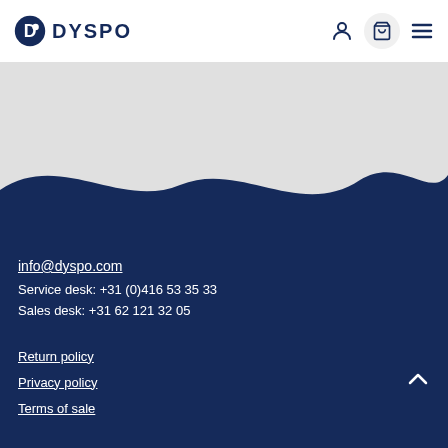[Figure (logo): DYSPO logo with circular D icon and bold DYSPO text in navy blue]
[Figure (illustration): Wave separator between light gray content area and dark navy footer background]
info@dyspo.com
Service desk: +31 (0)416 53 35 33
Sales desk: +31 62 121 32 05
Return policy
Privacy policy
Terms of sale